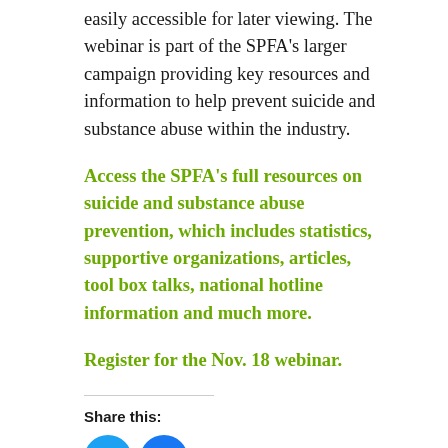easily accessible for later viewing. The webinar is part of the SPFA's larger campaign providing key resources and information to help prevent suicide and substance abuse within the industry.
Access the SPFA's full resources on suicide and substance abuse prevention, which includes statistics, supportive organizations, articles, tool box talks, national hotline information and much more.
Register for the Nov. 18 webinar.
Share this:
[Figure (illustration): Twitter and Facebook share icon buttons (circular blue icons with bird and f logos)]
Like this:
Loading...